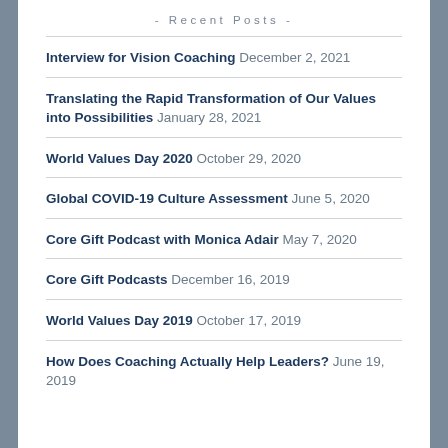- Recent Posts -
Interview for Vision Coaching December 2, 2021
Translating the Rapid Transformation of Our Values into Possibilities January 28, 2021
World Values Day 2020 October 29, 2020
Global COVID-19 Culture Assessment June 5, 2020
Core Gift Podcast with Monica Adair May 7, 2020
Core Gift Podcasts December 16, 2019
World Values Day 2019 October 17, 2019
How Does Coaching Actually Help Leaders? June 19, 2019